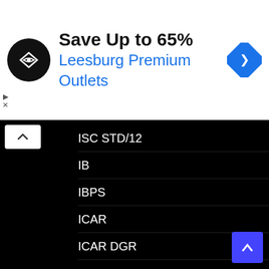[Figure (infographic): Advertisement banner: Save Up to 65% at Leesburg Premium Outlets with logo and map direction icon]
ISC STD/12
IB
IBPS
ICAR
ICAR DGR
ICAS
ICDS
ICDS | ANGANWADI JOBS
ICMR-NIOH
ICPS
IDBI BANK
IFFCO